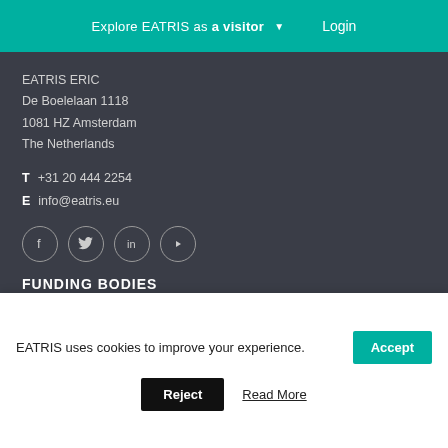Explore EATRIS as a visitor ▼ Login
EATRIS ERIC
De Boelelaan 1118
1081 HZ Amsterdam
The Netherlands
T  +31 20 444 2254
E  info@eatris.eu
[Figure (infographic): Social media icons: Facebook, Twitter, LinkedIn, YouTube — circular outline style]
FUNDING BODIES
[Figure (logo): Row of funding body logos: Ministry of Education (MK), unknown institution, Infarmed, Academy of Finland, Instituto de Salud Carlos III, ZonMw, Ministry of Science and Education Republic of Croatia]
[Figure (logo): Second row of funding body logos (partially visible)]
EATRIS uses cookies to improve your experience.
Accept
Reject
Read More